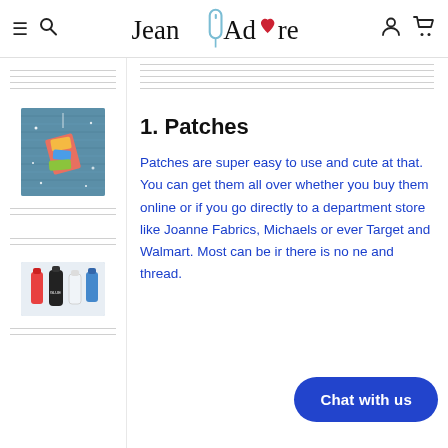Jean Adore — navigation header with hamburger, search, logo, user and cart icons
[Figure (photo): Thumbnail image of colorful patches on denim fabric with glitter/sparkle effect]
[Figure (photo): Thumbnail image of craft/sewing supplies including glue bottles and tools on white background]
1. Patches
Patches are super easy to use and cute at that.  You can get them all over whether you buy them online or if you go directly to a department store like Joanne Fabrics, Michaels or ever Target and Walmart. Most can be ir there is no ne and thread.
Chat with us